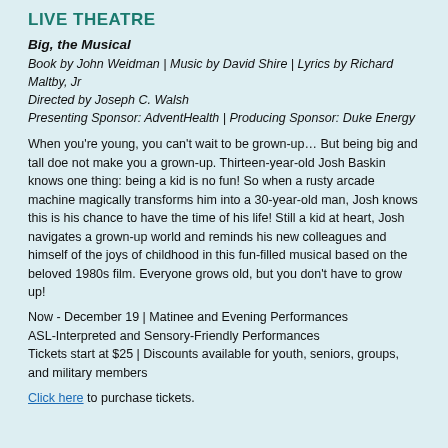LIVE THEATRE
Big, the Musical
Book by John Weidman | Music by David Shire | Lyrics by Richard Maltby, Jr
Directed by Joseph C. Walsh
Presenting Sponsor: AdventHealth | Producing Sponsor: Duke Energy
When you’re young, you can’t wait to be grown-up… But being big and tall doe not make you a grown-up. Thirteen-year-old Josh Baskin knows one thing: being a kid is no fun! So when a rusty arcade machine magically transforms him into a 30-year-old man, Josh knows this is his chance to have the time of his life! Still a kid at heart, Josh navigates a grown-up world and reminds his new colleagues and himself of the joys of childhood in this fun-filled musical based on the beloved 1980s film. Everyone grows old, but you don’t have to grow up!
Now - December 19 | Matinee and Evening Performances
ASL-Interpreted and Sensory-Friendly Performances
Tickets start at $25 | Discounts available for youth, seniors, groups, and military members
Click here to purchase tickets.